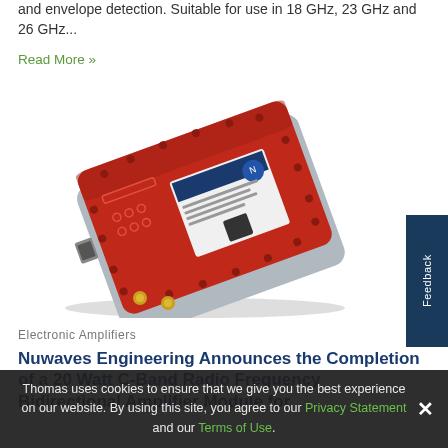and envelope detection. Suitable for use in 18 GHz, 23 GHz and 26 GHz...
Read More »
[Figure (photo): Red rectangular electronic amplifier module with gold connectors and label, viewed from above at an angle]
Electronic Amplifiers
Nuwaves Engineering Announces the Completion of a 20 Watt C-Band Radio Frequency Bidirectional Amplifier Module for
Thomas uses cookies to ensure that we give you the best experience on our website. By using this site, you agree to our Privacy Statement and our Terms of Use.